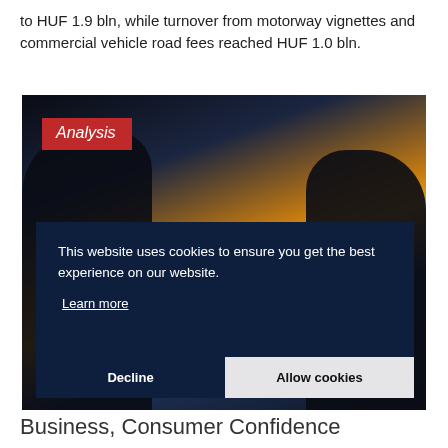to HUF 1.9 bln, while turnover from motorway vignettes and commercial vehicle road fees reached HUF 1.0 bln.
[Figure (photo): Photo of business people shaking hands with a glowing orange light in the background, overlaid with a dark navy cookie consent banner. An 'Analysis' badge in red is shown in the upper left of the photo.]
This website uses cookies to ensure you get the best experience on our website.
Learn more
Decline
Allow cookies
Business, Consumer Confidence